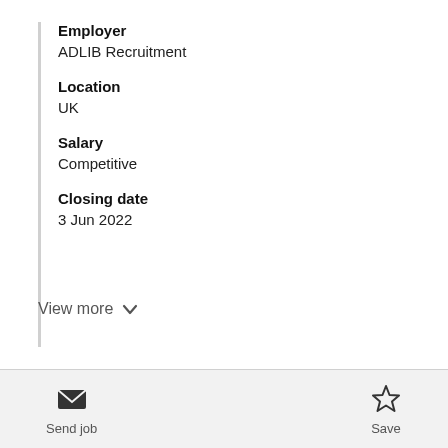Employer
ADLIB Recruitment
Location
UK
Salary
Competitive
Closing date
3 Jun 2022
View more
Send job
Save